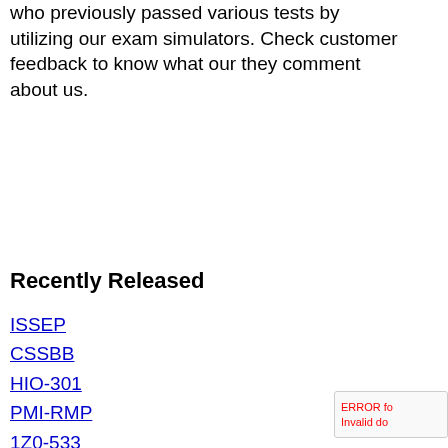who previously passed various tests by utilizing our exam simulators. Check customer feedback to know what our they comment about us.
Recently Released
ISSEP
CSSBB
HIO-301
PMI-RMP
1Z0-533
77-888
77-887
77-885